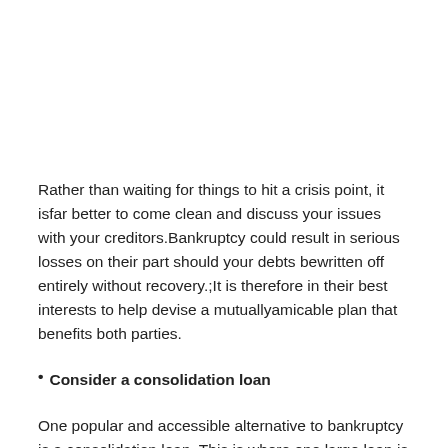Rather than waiting for things to hit a crisis point, it isfar better to come clean and discuss your issues with your creditors.Bankruptcy could result in serious losses on their part should your debts bewritten off entirely without recovery.;It is therefore in their best interests to help devise a mutuallyamicable plan that benefits both parties.
Consider a consolidation loan
One popular and accessible alternative to bankruptcy is a consolidation loan. This is where one large loan is taken out